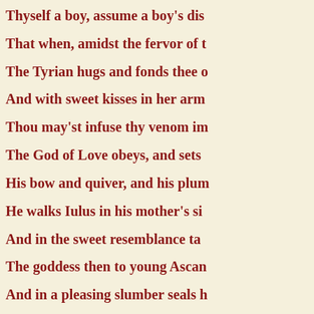Thyself a boy, assume a boy's dis-
That when, amidst the fervor of t-
The Tyrian hugs and fonds thee o-
And with sweet kisses in her arm-
Thou may'st infuse thy venom im-
The God of Love obeys, and sets -
His bow and quiver, and his plum-
He walks Iulus in his mother's si-
And in the sweet resemblance ta-
The goddess then to young Ascan-
And in a pleasing slumber seals h-
Lull'd in her lap, amidst a train o-
She gently bears him to her bliss-
Then with a wreath of myrtle cro-
And softly lays him on a flow'ry -
Cupid meantime assum'd his for-
Foll'wing Achates with a shorter -
And brought the gifts. The quee-
Amidst the Trojan lords, in shini-
High on a golden bed: her prince-
Was next her side; in order sate t-
Then canisters with bread are he-
Th' attendants water for their ha-
And, having wash'd, with silken